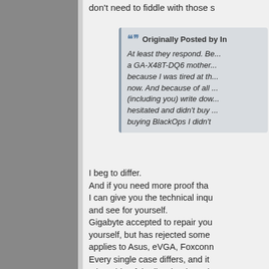don't need to fiddle with those s
Originally Posted by In
At least they respond. B... a GA-X48T-DQ6 mother... because I was tired at th... now. And because of all ... (including you) write dow... hesitated and didn't buy ... buying BlackOps I didn't
I beg to differ.
And if you need more proof tha...
I can give you the technical inqu...
and see for yourself.
Gigabyte accepted to repair you...
yourself, but has rejected some...
applies to Asus, eVGA, Foxconn...
Every single case differs, and it...
other side of the line ( * phone l...
Actually if you contacted anothe...
request.
When they ( I'm talking about ab...
industry ) start treating every cu...
talk about it.
The experienced users will nee...
case of a motherboard RMA/Re...
ask for help about overclocking...